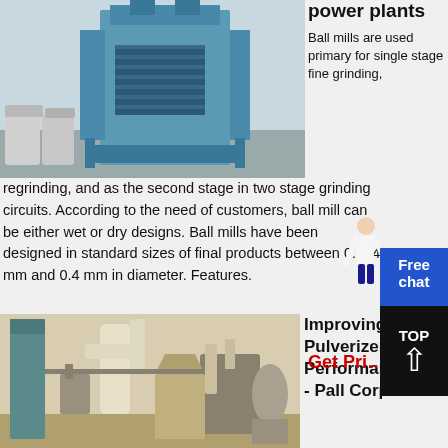[Figure (photo): Industrial ball mill equipment in a factory, blue metal machinery with bags of material visible]
power plants
Ball mills are used primary for single stage fine grinding, regrinding, and as the second stage in two stage grinding circuits. According to the need of customers, ball mill can be either wet or dry designs. Ball mills have been designed in standard sizes of final products between 0.074 mm and 0.4 mm in diameter. Features.
[Figure (photo): Industrial coal pulverizer facility interior with large pipes and machinery]
Improving Coal Pulverizer Performance and - Pall Corporation